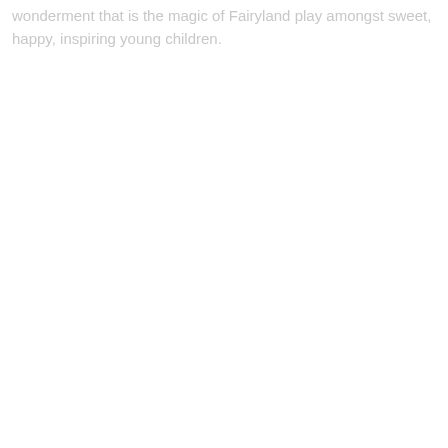wonderment that is the magic of Fairyland play amongst sweet, happy, inspiring young children.